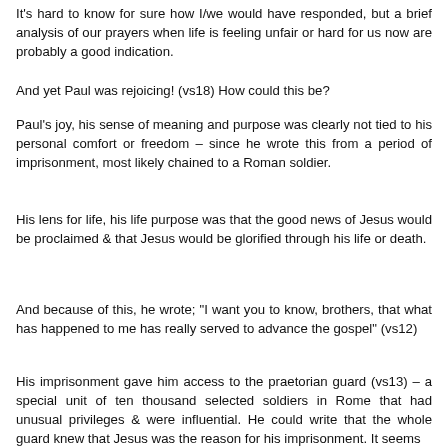It's hard to know for sure how I/we would have responded, but a brief analysis of our prayers when life is feeling unfair or hard for us now are probably a good indication.
And yet Paul was rejoicing! (vs18) How could this be?
Paul's joy, his sense of meaning and purpose was clearly not tied to his personal comfort or freedom – since he wrote this from a period of imprisonment, most likely chained to a Roman soldier.
His lens for life, his life purpose was that the good news of Jesus would be proclaimed & that Jesus would be glorified through his life or death.
And because of this, he wrote; "I want you to know, brothers, that what has happened to me has really served to advance the gospel" (vs12)
His imprisonment gave him access to the praetorian guard (vs13) – a special unit of ten thousand selected soldiers in Rome that had unusual privileges & were influential. He could write that the whole guard knew that Jesus was the reason for his imprisonment. It seems